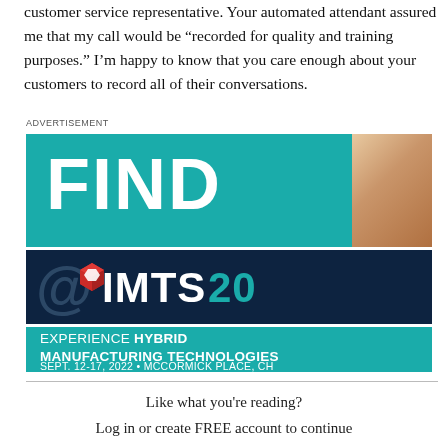customer service representative. Your automated attendant assured me that my call would be “recorded for quality and training purposes.” I’m happy to know that you care enough about your customers to record all of their conversations.
ADVERTISEMENT
[Figure (photo): Advertisement for IMTS 2022 (International Manufacturing Technology Show). Top teal section with large white bold text 'FIND'. Middle dark navy section with '@' symbol and 'IMTS20' text (teal colored year digits) and a red/white cube logo. Bottom teal section with text 'EXPERIENCE HYBRID MANUFACTURING TECHNOLOGIES' and 'SEPT. 12-17, 2022 • MCCORMICK PLACE, CH'.]
Like what you're reading?
Log in or create FREE account to continue